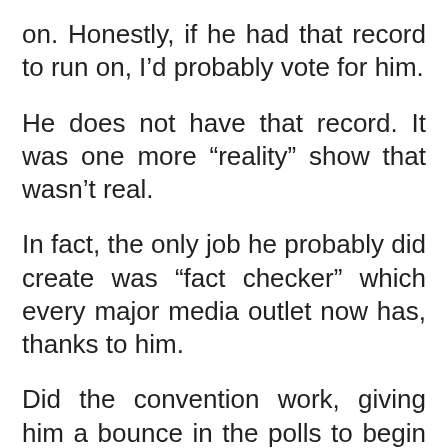on. Honestly, if he had that record to run on, I’d probably vote for him.
He does not have that record. It was one more “reality” show that wasn’t real.
In fact, the only job he probably did create was “fact checker” which every major media outlet now has, thanks to him.
Did the convention work, giving him a bounce in the polls to begin to catch up to Joe Biden? If the polls are right that is. We'll see in a few days.
The...